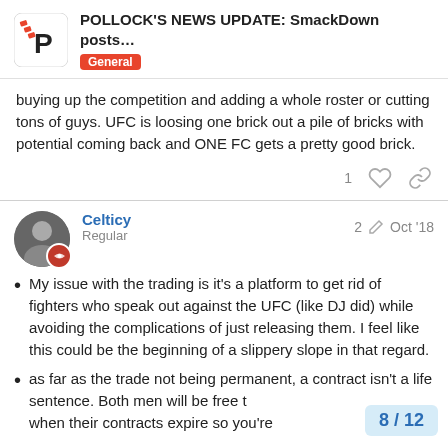POLLOCK'S NEWS UPDATE: SmackDown posts... | General
buying up the competition and adding a whole roster or cutting tons of guys. UFC is loosing one brick out a pile of bricks with potential coming back and ONE FC gets a pretty good brick.
Celticy Regular 2 Oct '18
My issue with the trading is it's a platform to get rid of fighters who speak out against the UFC (like DJ did) while avoiding the complications of just releasing them. I feel like this could be the beginning of a slippery slope in that regard.
as far as the trade not being permanent, a contract isn't a life sentence. Both men will be free to when their contracts expire so you're